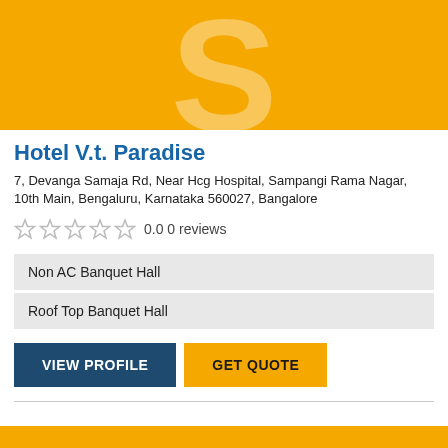[Figure (illustration): Yellow banner with large semi-transparent S letter logo in the center]
Hotel V.t. Paradise
7, Devanga Samaja Rd, Near Hcg Hospital, Sampangi Rama Nagar, 10th Main, Bengaluru, Karnataka 560027, Bangalore
0.0 0 reviews
Non AC Banquet Hall
Roof Top Banquet Hall